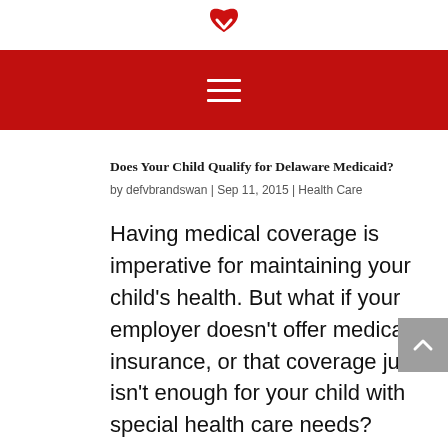[Figure (logo): Red heart-shaped logo with a downward pointing chevron/arrow mark]
Navigation menu hamburger icon (three horizontal lines) on dark red background
Does Your Child Qualify for Delaware Medicaid?
by defvbrandswan | Sep 11, 2015 | Health Care
Having medical coverage is imperative for maintaining your child’s health. But what if your employer doesn’t offer medical insurance, or that coverage just isn’t enough for your child with special health care needs? How do you know